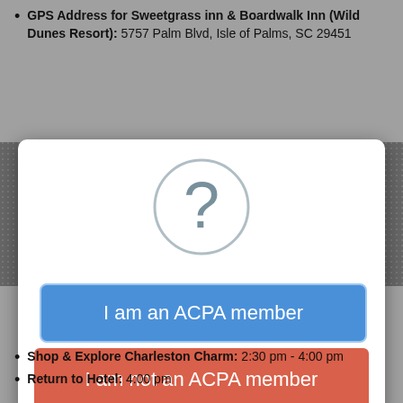GPS Address for Sweetgrass inn & Boardwalk Inn (Wild Dunes Resort): 5757 Palm Blvd, Isle of Palms, SC 29451
[Figure (other): A question mark icon inside a light gray circle, representing an unknown or question dialog]
I am an ACPA member
I am not an ACPA member
Shop & Explore Charleston Charm: 2:30 pm - 4:00 pm
Return to Hotel: 4:00 pm